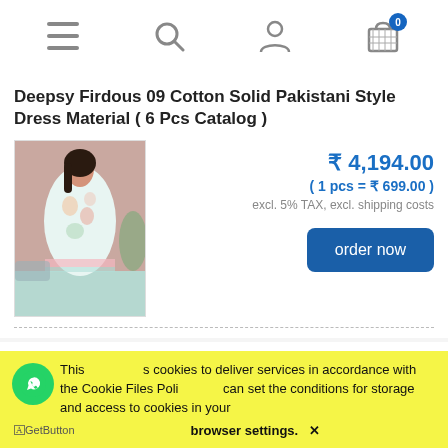Navigation bar with menu, search, account, and cart (0 items) icons
Deepsy Firdous 09 Cotton Solid Pakistani Style Dress Material ( 6 Pcs Catalog )
[Figure (photo): Photo of a woman wearing a light mint/white floral Pakistani style dress material]
₹ 4,194.00
( 1 pcs = ₹ 699.00 )
excl. 5% TAX, excl. shipping costs
order now
Deepsy Firdous 09 Cotton Solid Pakistani Style
This site uses cookies to deliver services in accordance with the Cookie Files Policy. You can set the conditions for storage and access to cookies in your browser settings. ✕